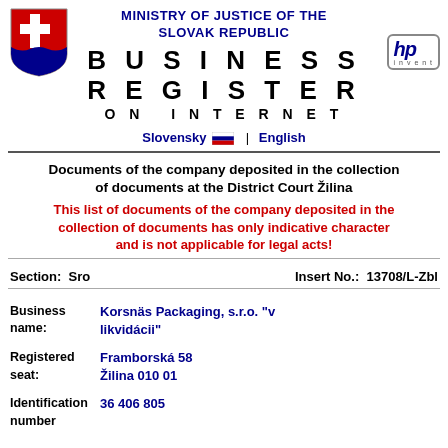MINISTRY OF JUSTICE OF THE SLOVAK REPUBLIC
BUSINESS REGISTER ON INTERNET
Slovensky | English
Documents of the company deposited in the collection of documents at the District Court Žilina
This list of documents of the company deposited in the collection of documents has only indicative character and is not applicable for legal acts!
Section: Sro    Insert No.: 13708/L-Zbl
Business name: Korsnäs Packaging, s.r.o. "v likvidácii"
Registered seat: Framborská 58 Žilina 010 01
Identification number: 36 406 805